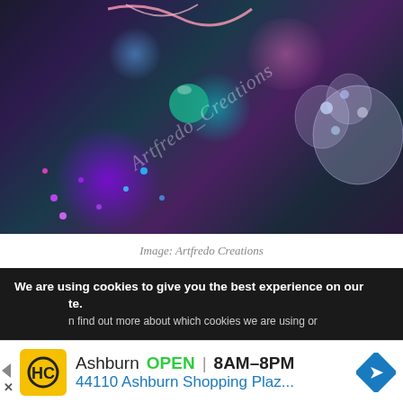[Figure (photo): Colorful decorated Christmas/Disney-themed wreaths and trees with Disney princess figurines, LED lights in purple and teal colors, ribbons, ornaments, and mesh. Watermark reads 'Artfredo Creations' diagonally across image.]
Image: Artfredo Creations
We are using cookies to give you the best experience on our site.
n find out more about which cookies we are using or
Ashburn  OPEN  8AM–8PM  44110 Ashburn Shopping Plaz...